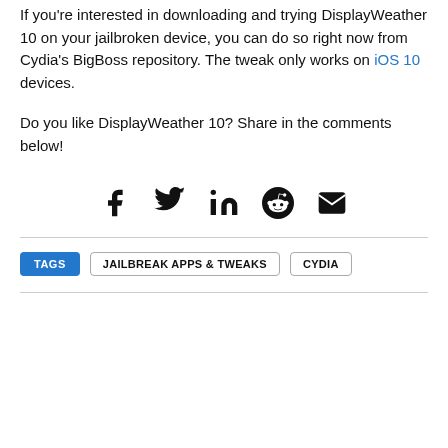If you're interested in downloading and trying DisplayWeather 10 on your jailbroken device, you can do so right now from Cydia's BigBoss repository. The tweak only works on iOS 10 devices.
Do you like DisplayWeather 10? Share in the comments below!
[Figure (infographic): Social sharing icons: Facebook, Twitter, LinkedIn, Reddit, Email]
TAGS  JAILBREAK APPS & TWEAKS  CYDIA